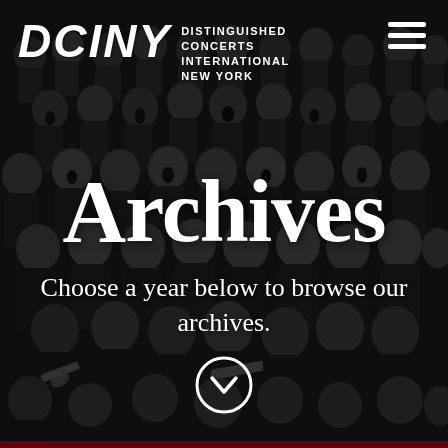[Figure (photo): Black and white photograph of a large choir and orchestra group, with many singers and musicians in formal attire, used as background for the DCINY Archives webpage header.]
DCINY Distinguished Concerts International New York
Archives
Choose a year below to browse our archives.
[Figure (other): White circle with downward chevron/checkmark icon, indicating scroll down or expand.]